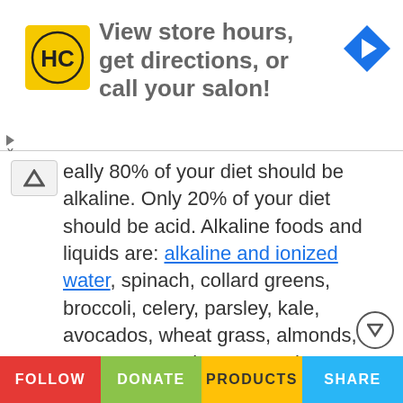[Figure (screenshot): Advertisement banner for a hair care salon brand (HC logo in yellow), with text 'View store hours, get directions, or call your salon!' and a blue navigation arrow icon on the right.]
eally 80% of your diet should be alkaline. Only 20% of your diet should be acid. Alkaline foods and liquids are: alkaline and ionized water, spinach, collard greens, broccoli, celery, parsley, kale, avocados, wheat grass, almonds, carrots, cucumbers, squash, etc. Acid foods and liquids are: alcohol, drugs, medications, chicken, pork, steak, hamburger, potatoes, rice, beans, walnuts, Brazil nuts, hazelnuts, peanuts, fruit, sugar, soft drinks/sodas, refined sugar, high fructose corn syrup, fruit juice, orange juice, bread, processed foods, candy, fish, etc.
FOLLOW   DONATE   PRODUCTS   SHARE